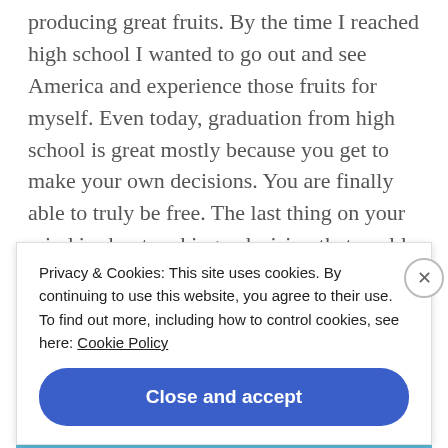producing great fruits. By the time I reached high school I wanted to go out and see America and experience those fruits for myself. Even today, graduation from high school is great mostly because you get to make your own decisions. You are finally able to truly be free. The last thing on your mind is about making a decision that could cost you your life. But I couldn't help but wonder what was happening to my country. All the things the
Privacy & Cookies: This site uses cookies. By continuing to use this website, you agree to their use.
To find out more, including how to control cookies, see here: Cookie Policy
Close and accept